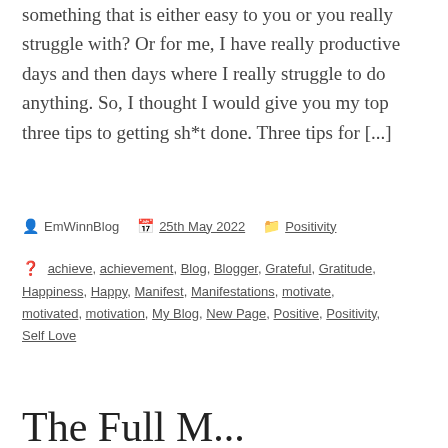something that is either easy to you or you really struggle with? Or for me, I have really productive days and then days where I really struggle to do anything. So, I thought I would give you my top three tips to getting sh*t done. Three tips for [...]
EmWinnBlog   25th May 2022   Positivity
achieve, achievement, Blog, Blogger, Grateful, Gratitude, Happiness, Happy, Manifest, Manifestations, motivate, motivated, motivation, My Blog, New Page, Positive, Positivity, Self Love
The Full M...